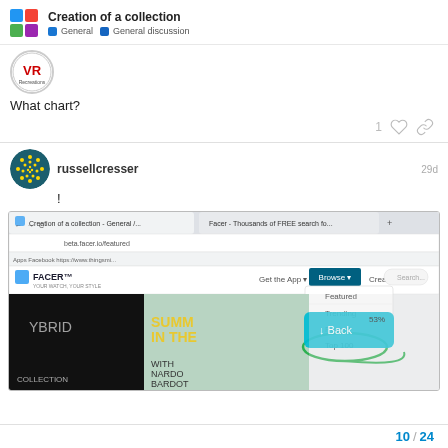Creation of a collection — General > General discussion
[Figure (logo): VR Recreations circular logo]
What chart?
1 like, share link icons
russellcresser 29d
!
[Figure (screenshot): Screenshot of Facer website showing Browse dropdown menu with Featured, Trending, Recent, Top 100 options circled. Shows summer themed watch faces and a Back button overlay.]
10 / 24